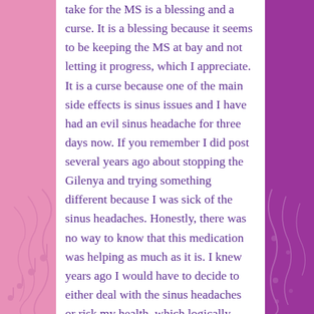take for the MS is a blessing and a curse. It is a blessing because it seems to be keeping the MS at bay and not letting it progress, which I appreciate. It is a curse because one of the main side effects is sinus issues and I have had an evil sinus headache for three days now. If you remember I did post several years ago about stopping the Gilenya and trying something different because I was sick of the sinus headaches. Honestly, there was no way to know that this medication was helping as much as it is. I knew years ago I would have to decide to either deal with the sinus headaches or risk my health, which logically seems like a no-brainer. I hate the constant headaches but would regret changing medications and end